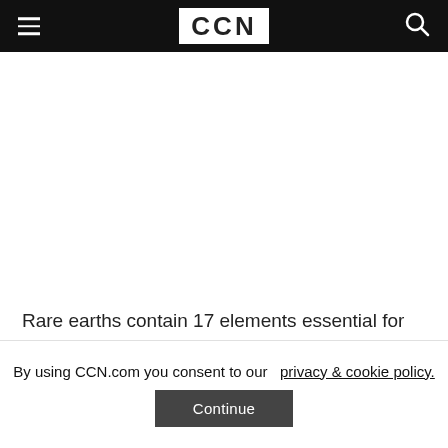CCN
[Figure (other): Advertisement / blank white area]
Rare earths contain 17 elements essential for smartphones, fighter jets, batteries, and electric cars. China commands 70 percent of all rare earth
By using CCN.com you consent to our privacy & cookie policy. Continue